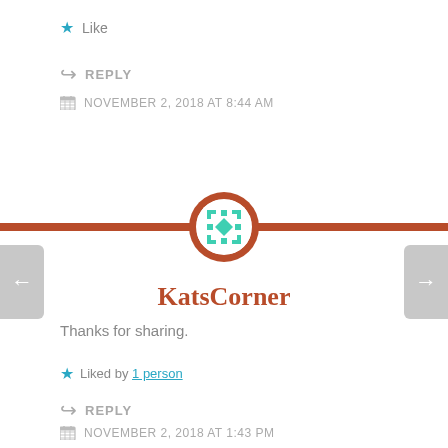★ Like
↪ REPLY
NOVEMBER 2, 2018 AT 8:44 AM
[Figure (illustration): Horizontal rust/brown divider line with a circular avatar in the center. The avatar has a rust border and contains a teal geometric quilt-pattern icon on white background.]
KatsCorner
Thanks for sharing.
★ Liked by 1 person
↪ REPLY
NOVEMBER 2, 2018 AT 1:43 PM